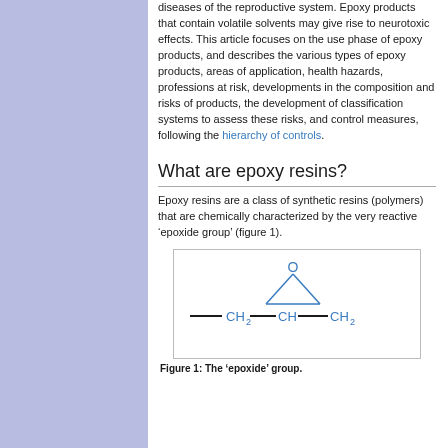diseases of the reproductive system. Epoxy products that contain volatile solvents may give rise to neurotoxic effects. This article focuses on the use phase of epoxy products, and describes the various types of epoxy products, areas of application, health hazards, professions at risk, developments in the composition and risks of products, the development of classification systems to assess these risks, and control measures, following the hierarchy of controls.
What are epoxy resins?
Epoxy resins are a class of synthetic resins (polymers) that are chemically characterized by the very reactive ‘epoxide group’ (figure 1).
[Figure (engineering-diagram): Chemical structure diagram of the epoxide group showing an oxygen atom at top connected to a three-membered ring, with CH2-CH-CH2 chain below, drawn in blue.]
Figure 1: The ‘epoxide’ group.